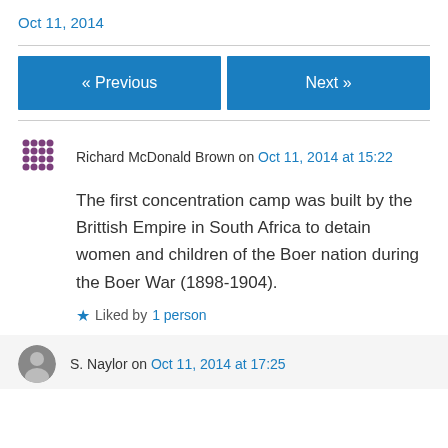Oct 11, 2014
« Previous
Next »
Richard McDonald Brown on Oct 11, 2014 at 15:22
The first concentration camp was built by the Brittish Empire in South Africa to detain women and children of the Boer nation during the Boer War (1898-1904).
Liked by 1 person
S. Naylor on Oct 11, 2014 at 17:25